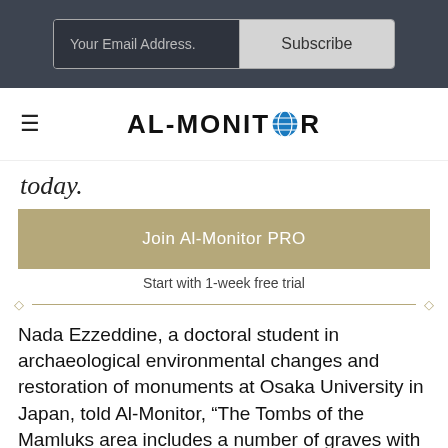[Figure (screenshot): Email subscription bar with 'Your Email Address.' input field and 'Subscribe' button on dark background]
[Figure (logo): AL-MONITOR logo with globe icon replacing the letter O, navigation hamburger menu on the left]
today.
Join Al-Monitor PRO
Start with 1-week free trial
Nada Ezzeddine, a doctoral student in archaeological environmental changes and restoration of monuments at Osaka University in Japan, told Al-Monitor, “The Tombs of the Mamluks area includes a number of graves with